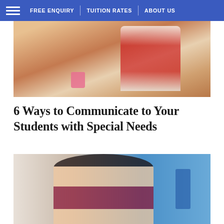FREE ENQUIRY | TUITION RATES | ABOUT US
[Figure (photo): A child in a red vest writing at a desk with a teacher nearby; pink pencil cup visible; bookshelf in background]
6 Ways to Communicate to Your Students with Special Needs
[Figure (photo): A young girl with long dark hair resting her head on her hand, sitting at a school desk, looking down at a book; blue wall and chair in background]